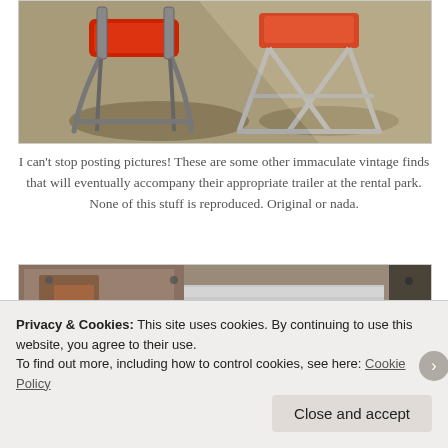[Figure (photo): Vintage metal chairs with red cushions, one with a curved tubular frame and one with an X-base, sitting on a concrete or dirt surface in sunlight]
I can't stop posting pictures! These are some other immaculate vintage finds that will eventually accompany their appropriate trailer at the rental park. None of this stuff is reproduced. Original or nada.
[Figure (photo): Partial view of rusty metal panels or doors, showing weathered and corroded surfaces in brown and silver tones]
Privacy & Cookies: This site uses cookies. By continuing to use this website, you agree to their use.
To find out more, including how to control cookies, see here: Cookie Policy